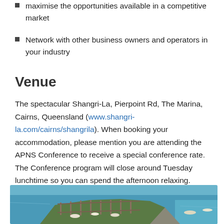maximise the opportunities available in a competitive market
Network with other business owners and operators in your industry
Venue
The spectacular Shangri-La, Pierpoint Rd, The Marina, Cairns, Queensland (www.shangri-la.com/cairns/shangrila). When booking your accommodation, please mention you are attending the APNS Conference to receive a special conference rate. The Conference program will close around Tuesday lunchtime so you can spend the afternoon relaxing.
[Figure (photo): Aerial view of a marina with boats and blue water in Cairns, Queensland]